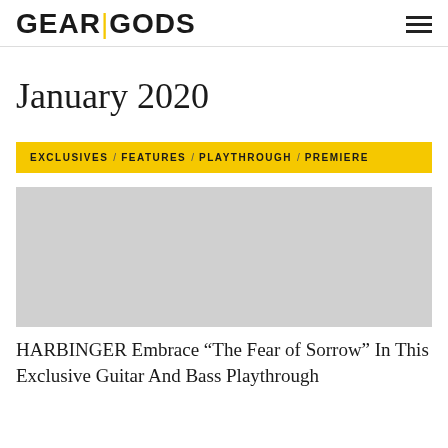GEAR|GODS
January 2020
EXCLUSIVES / FEATURES / PLAYTHROUGH / PREMIERE
[Figure (photo): Article thumbnail image placeholder (gray rectangle)]
HARBINGER Embrace “The Fear of Sorrow” In This Exclusive Guitar And Bass Playthrough